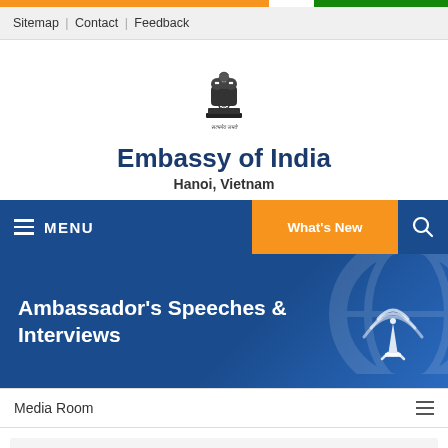Sitemap | Contact | Feedback
[Figure (logo): Emblem of India (Ashoka lion capital) with text 'Satyamev Jayate']
Embassy of India
Hanoi, Vietnam
MENU  What's New
Ambassador's Speeches & Interviews
Media Room
| Title |
| --- |